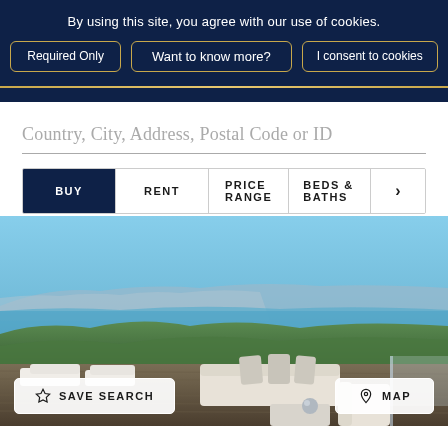By using this site, you agree with our use of cookies.
Required Only
Want to know more?
I consent to cookies
Country, City, Address, Postal Code or ID
BUY
RENT
PRICE RANGE
BEDS & BATHS
[Figure (photo): Luxury outdoor terrace with white sectional sofa and lounge furniture on a wooden deck overlooking a Mediterranean coastal bay with mountains in the background under a blue sky]
SAVE SEARCH
MAP